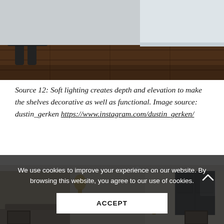[Figure (photo): Partial view of a modern kitchen or dining area with a dark chair, white countertop, and dark wood floor, cropped at top of page.]
Source 12: Soft lighting creates depth and elevation to make the shelves decorative as well as functional. Image source: dustin_gerken https://www.instagram.com/dustin_gerken/
[Figure (photo): Interior design image showing a living/kitchen space with gold wall sconce fixtures, dark cabinetry with crown molding, and various furnishings.]
We use cookies to improve your experience on our website. By browsing this website, you agree to our use of cookies.